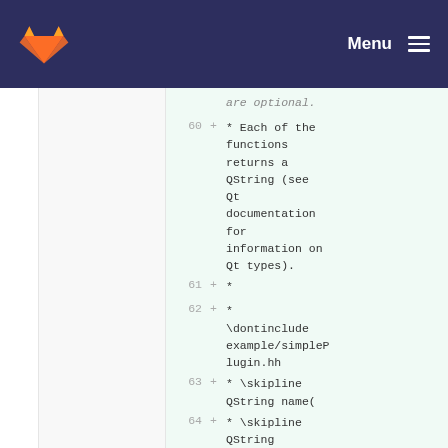Menu
are optional.
60 + * Each of the functions returns a QString (see Qt documentation for information on Qt types).
61 + *
62 + * \dontinclude example/simplePlugin.hh
63 + * \skipline QString name(
64 + * \skipline QString description(